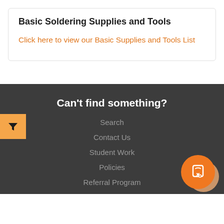Basic Soldering Supplies and Tools
Click here to view our Basic Supplies and Tools List
Can't find something?
Search
Contact Us
Student Work
Policies
Referral Program